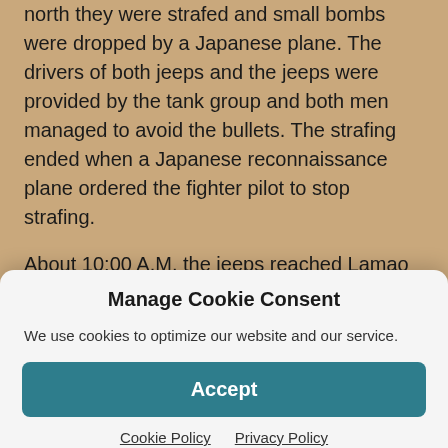north they were strafed and small bombs were dropped by a Japanese plane. The drivers of both jeeps and the jeeps were provided by the tank group and both men managed to avoid the bullets. The strafing ended when a Japanese reconnaissance plane ordered the fighter pilot to stop strafing.
About 10:00 A.M. the jeeps reached Lamao where they were received by a Japanese Major General who informed King that he reported his coming to negotiate a surrender and that an officer from Japanese command would arrive to do the negotiations. The Japanese officer also told him
Manage Cookie Consent
We use cookies to optimize our website and our service.
Accept
Cookie Policy   Privacy Policy